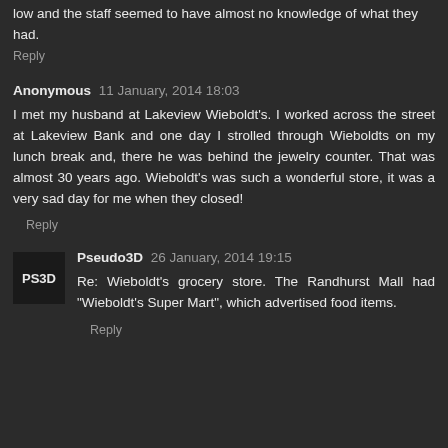low and the staff seemed to have almost no knowledge of what they had.
Reply
Anonymous  11 January, 2014 18:03
I met my husband at Lakeview Wieboldt's. I worked across the street at Lakeview Bank and one day I strolled through Wieboldts on my lunch break and, there he was behind the jewelry counter. That was almost 30 years ago. Wieboldt's was such a wonderful store, it was a very sad day for me when they closed!
Reply
Pseudo3D  26 January, 2014 19:15
Re: Wieboldt's grocery store. The Randhurst Mall had "Wieboldt's Super Mart", which advertised food items.
Reply